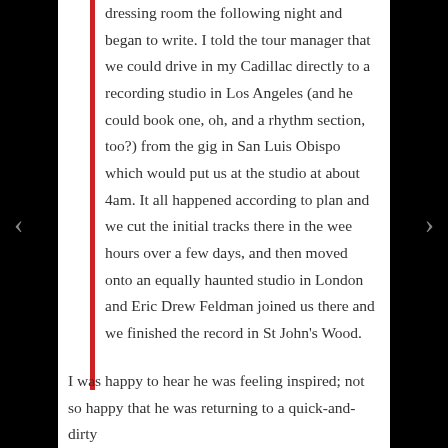dressing room the following night and began to write. I told the tour manager that we could drive in my Cadillac directly to a recording studio in Los Angeles (and he could book one, oh, and a rhythm section, too?) from the gig in San Luis Obispo which would put us at the studio at about 4am. It all happened according to plan and we cut the initial tracks there in the wee hours over a few days, and then moved onto an equally haunted studio in London and Eric Drew Feldman joined us there and we finished the record in St John's Wood.
I was happy to hear he was feeling inspired; not so happy that he was returning to a quick-and-dirty